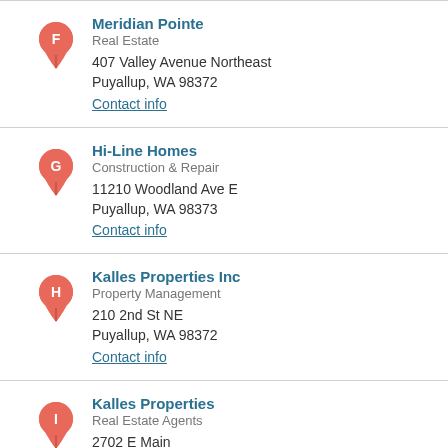Meridian Pointe
Real Estate
407 Valley Avenue Northeast
Puyallup, WA 98372
Contact info
Hi-Line Homes
Construction & Repair
11210 Woodland Ave E
Puyallup, WA 98373
Contact info
Kalles Properties Inc
Property Management
210 2nd St NE
Puyallup, WA 98372
Contact info
Kalles Properties
Real Estate Agents
2702 E Main
Puyallup, WA 98372
Contact info